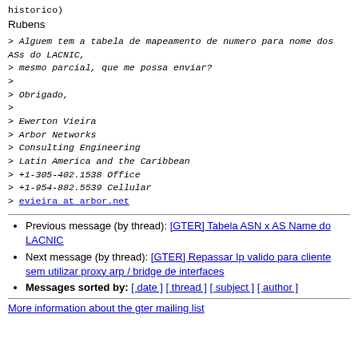historico)
Rubens
> Alguem tem a tabela de mapeamento de numero para nome dos ASs do LACNIC,
> mesmo parcial, que me possa enviar?
>
> Obrigado,
>
> Ewerton Vieira
> Arbor Networks
> Consulting Engineering
> Latin America and the Caribbean
> +1-305-402.1538 Office
> +1-954-882.5539 Cellular
> evieira at arbor.net
Previous message (by thread): [GTER] Tabela ASN x AS Name do LACNIC
Next message (by thread): [GTER] Repassar Ip valido para cliente sem utilizar proxy arp / bridge de interfaces
Messages sorted by: [ date ] [ thread ] [ subject ] [ author ]
More information about the gter mailing list